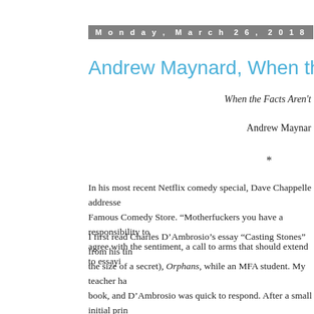Monday, March 26, 2018
Andrew Maynard, When the Facts Aren't
When the Facts Aren't
Andrew Maynar
*
In his most recent Netflix comedy special, Dave Chappelle addresses Famous Comedy Store. “Motherfuckers you have a responsibility to agree with the sentiment, a call to arms that should extend to essayi
I first read Charles D’Ambrosio’s essay “Casting Stones” from his tin the size of a secret), Orphans, while an MFA student. My teacher ha book, and D’Ambrosio was quick to respond. After a small initial prin nothing to do with the actual collection, it fizzled out. It has since bee and re-released to mass acclaim, but there was something about the suited to house “Casting Stones,” an essay about the media’s inabili of coherence or sympathy as she was tried in court for raping a 12-y read, daring to whisper compassion toward a woman who had only b